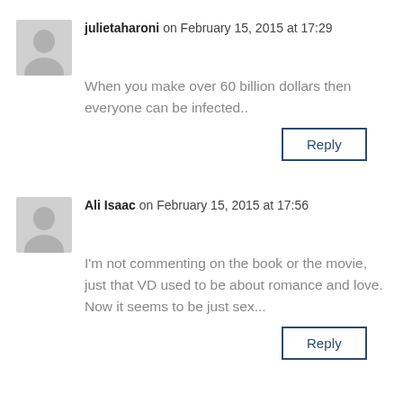julietaharoni on February 15, 2015 at 17:29
When you make over 60 billion dollars then everyone can be infected..
Reply
Ali Isaac on February 15, 2015 at 17:56
I'm not commenting on the book or the movie, just that VD used to be about romance and love. Now it seems to be just sex...
Reply